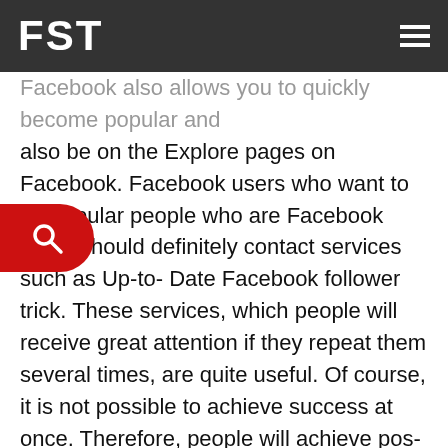FST
Facebook also allows you to quickly become popular and also be on the Explore pages on Facebook. Facebook users who want to be popular people who are Facebook users should definitely contact services such as Up-to-Date Facebook follower trick. These services, which people will receive great attention if they repeat them several times, are quite useful. Of course, it is not possible to achieve success at once. Therefore, people will achieve positive results by repeating these services several times. Accounts with a high number of Facebook followers stand out. To increase the number of followers, people should contact services such as Facebook follower trick 2021. Accounts with a high number of followers have higher likes and views. In addition, the fact that the followers sent are active may cause a decrease in the number of followers from time to time. Followers who are not suitable for the target audience may leave the follow-up. However, it